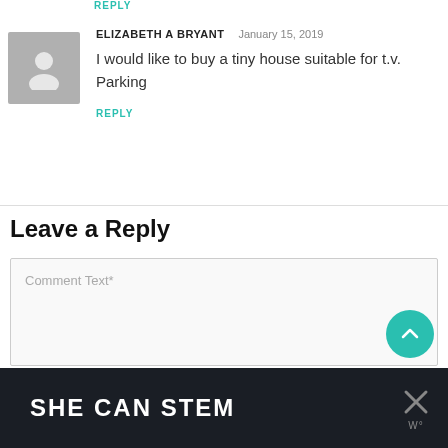REPLY
ELIZABETH A BRYANT   January 15, 2019
I would like to buy a tiny house suitable for t.v. Parking
REPLY
Leave a Reply
Comment Text*
[Figure (screenshot): SHE CAN STEM advertisement banner with close button]
[Figure (illustration): Default user avatar placeholder (grey silhouette)]